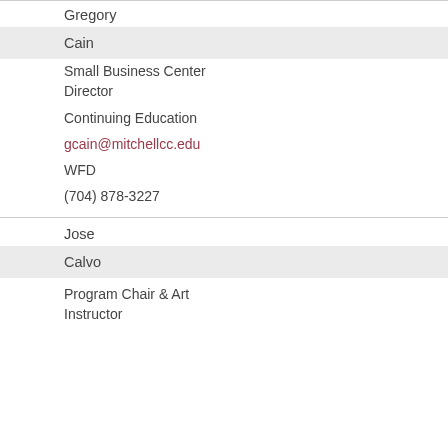| Gregory |  |
| Cain |  |
| Small Business Center
Director |  |
| Continuing Education |  |
| gcain@mitchellcc.edu |  |
| WFD |  |
| (704) 878-3227 |  |
| Jose |  |
| Calvo |  |
| Program Chair & Art
Instructor |  |